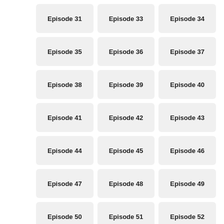Episode 31
Episode 33
Episode 34
Episode 35
Episode 36
Episode 37
Episode 38
Episode 39
Episode 40
Episode 41
Episode 42
Episode 43
Episode 44
Episode 45
Episode 46
Episode 47
Episode 48
Episode 49
Episode 50
Episode 51
Episode 52
Season 06
Episode 01
Episode 02
Episode 03
Episode 04
Episode 05
Episode 06